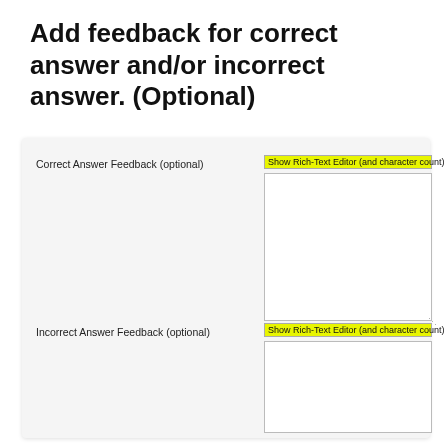Add feedback for correct answer and/or incorrect answer. (Optional)
[Figure (screenshot): A form card with two feedback fields: 'Correct Answer Feedback (optional)' with a text area and a highlighted 'Show Rich-Text Editor (and character count)' button, and 'Incorrect Answer Feedback (optional)' with a similar text area and button.]